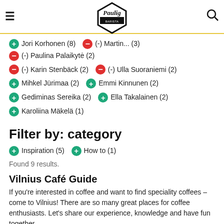Paulig Barista Institute
+ Jori Korhonen (8)  - (-) Martin... (3)  - (-) Paulina Palaikytė (2)
- (-) Karin Stenbäck (2)  - (-) Ulla Suoraniemi (2)
+ Mihkel Jürimaa (2)  + Emmi Kinnunen (2)
+ Gediminas Sereika (2)  + Ella Takalainen (2)
+ Karoliina Mäkelä (1)
Filter by: category
+ Inspiration (5)  + How to (1)
Found 9 results.
Vilnius Café Guide
If you're interested in coffee and want to find speciality coffees – come to Vilnius! There are so many great places for coffee enthusiasts. Let's share our experience, knowledge and have fun together.